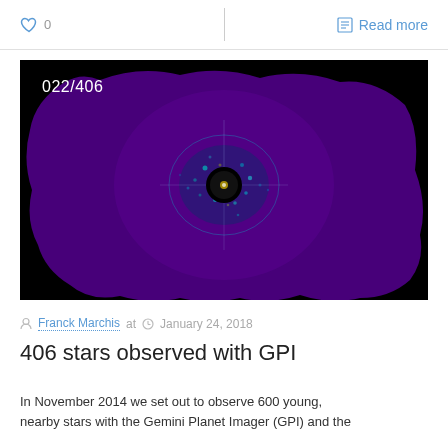♡ 0   |   Read more
[Figure (photo): Astronomical coronagraph image labeled 022/406, showing a black central occulter surrounded by a purple/violet speckle halo on black background, captured by the Gemini Planet Imager (GPI). The field is roughly square with clipped corners.]
Franck Marchis at   January 24, 2018
406 stars observed with GPI
In November 2014 we set out to observe 600 young, nearby stars with the Gemini Planet Imager (GPI) and the